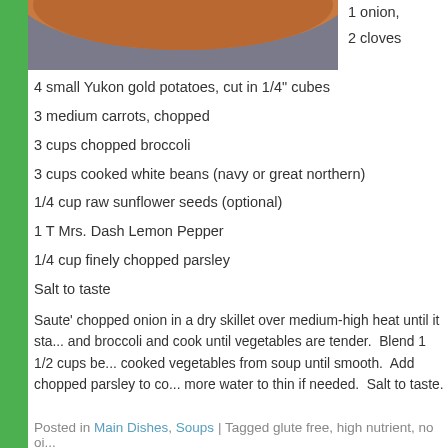[Figure (photo): Photo of a dish/bowl, partially visible, with orange/terracotta rim against a grey background]
1 onion,
2 cloves
4 small Yukon gold potatoes, cut in 1/4" cubes
3 medium carrots, chopped
3 cups chopped broccoli
3 cups cooked white beans (navy or great northern)
1/4 cup raw sunflower seeds (optional)
1 T Mrs. Dash Lemon Pepper
1/4 cup finely chopped parsley
Salt to taste
Saute' chopped onion in a dry skillet over medium-high heat until it sta... and broccoli and cook until vegetables are tender.  Blend 1 1/2 cups be... cooked vegetables from soup until smooth.  Add chopped parsley to co... more water to thin if needed.  Salt to taste.
Posted in Main Dishes, Soups | Tagged glute free, high nutrient, no oi...